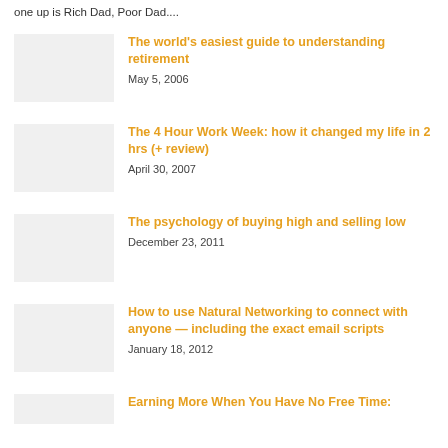one up is Rich Dad, Poor Dad....
The world's easiest guide to understanding retirement
May 5, 2006
The 4 Hour Work Week: how it changed my life in 2 hrs (+ review)
April 30, 2007
The psychology of buying high and selling low
December 23, 2011
How to use Natural Networking to connect with anyone — including the exact email scripts
January 18, 2012
Earning More When You Have No Free Time: